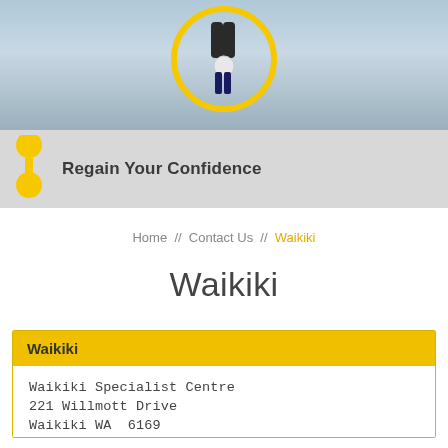[Figure (photo): Hero image showing a person with a prosthetic leg/knee joint highlighted with a yellow circle, against a cloudy sky background]
Regain Your Confidence
Home // Contact Us // Waikiki
Waikiki
Waikiki
Waikiki Specialist Centre
221 Willmott Drive
Waikiki WA  6169